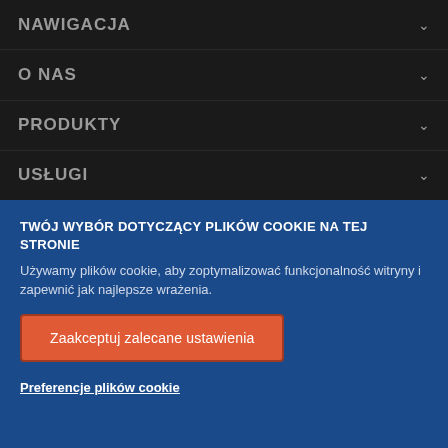NAWIGACJA
O NAS
PRODUKTY
USŁUGI
TWÓJ WYBÓR DOTYCZĄCY PLIKÓW COOKIE NA TEJ STRONIE
Używamy plików cookie, aby zoptymalizować funkcjonalność witryny i zapewnić jak najlepsze wrażenia.
Zaakceptuj zalecane ustawienia
Preferencje plików cookie